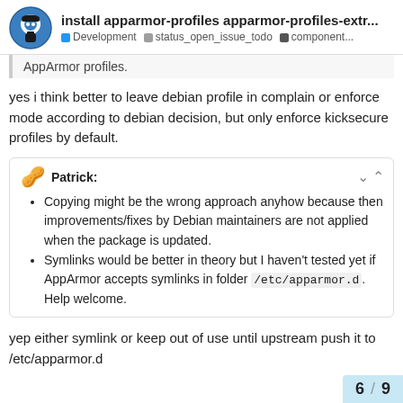install apparmor-profiles apparmor-profiles-extr... | Development | status_open_issue_todo | component...
AppArmor profiles.
yes i think better to leave debian profile in complain or enforce mode according to debian decision, but only enforce kicksecure profiles by default.
Patrick:
Copying might be the wrong approach anyhow because then improvements/fixes by Debian maintainers are not applied when the package is updated.
Symlinks would be better in theory but I haven't tested yet if AppArmor accepts symlinks in folder /etc/apparmor.d. Help welcome.
yep either symlink or keep out of use until upstream push it to /etc/apparmor.d
6 / 9